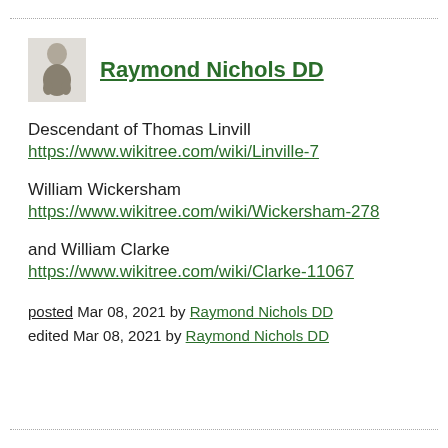Raymond Nichols DD
Descendant of Thomas Linvill
https://www.wikitree.com/wiki/Linville-7
William Wickersham
https://www.wikitree.com/wiki/Wickersham-278
and William Clarke
https://www.wikitree.com/wiki/Clarke-11067
posted Mar 08, 2021 by Raymond Nichols DD
edited Mar 08, 2021 by Raymond Nichols DD